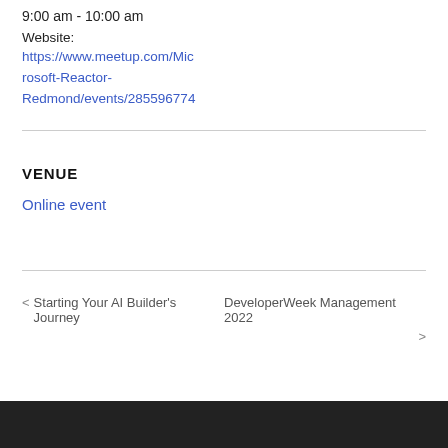9:00 am - 10:00 am
Website:
https://www.meetup.com/Microsoft-Reactor-Redmond/events/285596774
VENUE
Online event
< Starting Your AI Builder's Journey   DeveloperWeek Management 2022 >